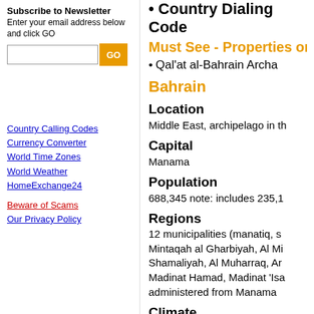Subscribe to Newsletter
Enter your email address below and click GO
Country Dialing Code
Must See - Properties on U
Qal'at al-Bahrain Archa
Bahrain
Location
Middle East, archipelago in th
Capital
Manama
Population
688,345 note: includes 235,1
Regions
12 municipalities (manatiq, s Mintaqah al Gharbiyah, Al Mi Shamaliyah, Al Muharraq, Ar Madinat Hamad, Madinat 'Isa administered from Manama
Climate
arid; mild, pleasant winters; v
Country Calling Codes
Currency Converter
World Time Zones
World Weather
HomeExchange24
Beware of Scams
Our Privacy Policy